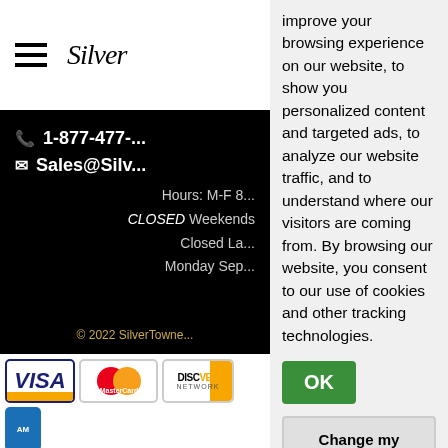[Figure (logo): Hamburger menu icon and Silver script logo]
1-877-477-...
Sales@Silv...
Hours: M-F 8...
CLOSED Weekends
Closed La...
Monday Sep...
© 2022 SilverTowne...
[Figure (other): Payment method logos: VISA, MasterCard, Discover, AMEX]
[Figure (other): TrustedSite Certified Secure badge]
[Figure (other): GoDaddy Verified and Secured badge]
[Figure (other): TrustedSite Certified Secure badge and Android App text]
improve your browsing experience on our website, to show you personalized content and targeted ads, to analyze our website traffic, and to understand where our visitors are coming from. By browsing our website, you consent to our use of cookies and other tracking technologies.
OK
Change my preferences